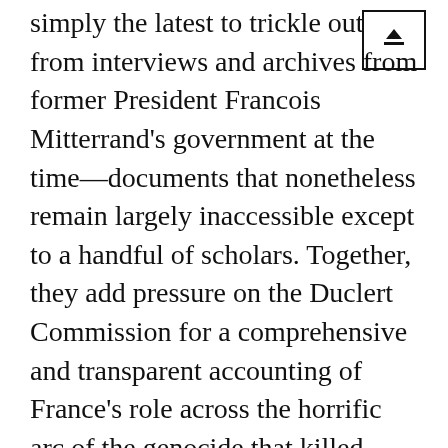simply the latest to trickle out from interviews and archives from former President Francois Mitterrand’s government at the time—documents that nonetheless remain largely inaccessible except to a handful of scholars. Together, they add pressure on the Duclert Commission for a comprehensive and transparent accounting of France’s role across the horrific arc of the genocide that killed more than 800,000 people.
“For us, it’s an extra element that confirms what we’ve denounced for years,” said Thomas Borrel, a spokesman for Survie (Survival), a victims’ rights association